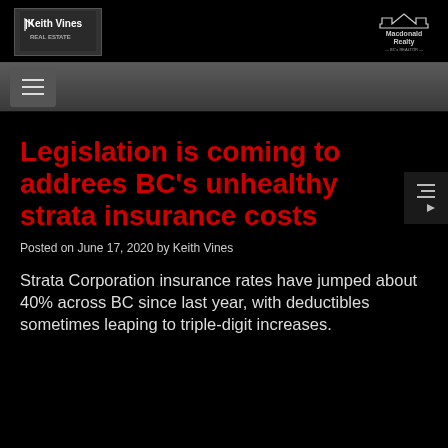Keith Vines | Macdonald Realty
Legislation is coming to addrees BC's unhealthy strata insurance costs
Posted on June 17, 2020 by Keith Vines
Strata Corporation insurance rates have jumped about 40% across BC since last year, with deductibles sometimes leaping to triple-digit increases.